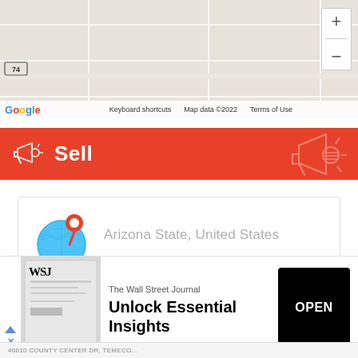[Figure (map): Google Maps view showing a road map with route 74, zoom controls (+/-), Google logo, Keyboard shortcuts, Map data ©2022, and Terms of Use labels at the bottom.]
Sell
[Figure (illustration): Location card showing a globe icon with a red pin marker and the text 'Arizona State, United States' in gray.]
Arizona State, United States
[Figure (screenshot): Advertisement overlay: The Wall Street Journal - Unlock Essential Insights, with WSJ logo, OPEN button, and a partial address '40610 COUNTY CENTER DR, TEMECO...' at the bottom.]